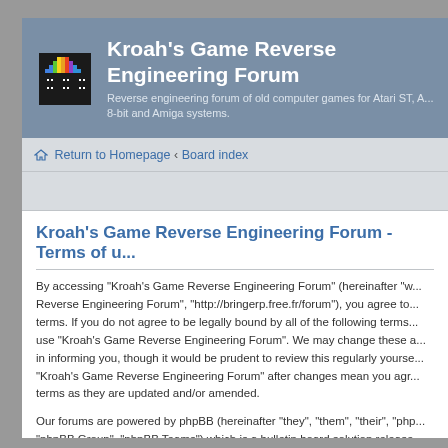Kroah's Game Reverse Engineering Forum
Reverse engineering forum of old computer games for Atari ST, A... 8-bit and Amiga systems.
Return to Homepage · Board index
Kroah's Game Reverse Engineering Forum - Terms of u...
By accessing "Kroah's Game Reverse Engineering Forum" (hereinafter "w... Reverse Engineering Forum", "http://bringerp.free.fr/forum"), you agree to... terms. If you do not agree to be legally bound by all of the following terms... use "Kroah's Game Reverse Engineering Forum". We may change these a... in informing you, though it would be prudent to review this regularly yourse... "Kroah's Game Reverse Engineering Forum" after changes mean you agr... terms as they are updated and/or amended.
Our forums are powered by phpBB (hereinafter "they", "them", "their", "php... "phpBB Group", "phpBB Teams") which is a bulletin board solution release... b...